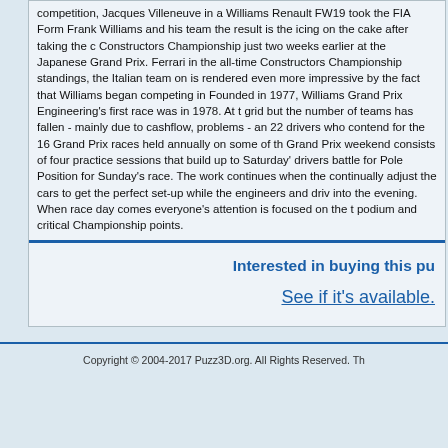competition, Jacques Villeneuve in a Williams Renault FW19 took the FIA Form... Frank Williams and his team the result is the icing on the cake after taking the c... Constructors Championship just two weeks earlier at the Japanese Grand Prix. ... Ferrari in the all-time Constructors Championship standings, the Italian team on... is rendered even more impressive by the fact that Williams began competing in ... Founded in 1977, Williams Grand Prix Engineering's first race was in 1978. At t... grid but the number of teams has fallen - mainly due to cashflow, problems - an... 22 drivers who contend for the 16 Grand Prix races held annually on some of th... Grand Prix weekend consists of four practice sessions that build up to Saturday'... drivers battle for Pole Position for Sunday's race. The work continues when the ... continually adjust the cars to get the perfect set-up while the engineers and driv... into the evening. When race day comes everyone's attention is focused on the t... podium and critical Championship points.
Interested in buying this pu...
See if it's available.
Copyright © 2004-2017 Puzz3D.org. All Rights Reserved. Th...